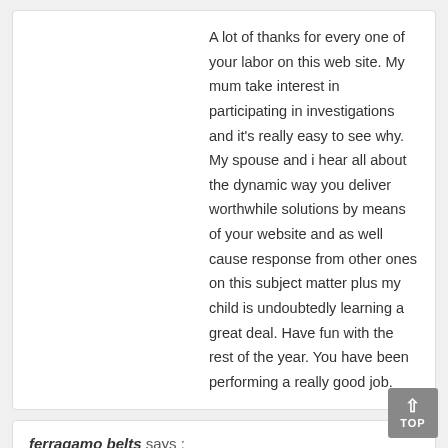A lot of thanks for every one of your labor on this web site. My mum take interest in participating in investigations and it's really easy to see why. My spouse and i hear all about the dynamic way you deliver worthwhile solutions by means of your website and as well cause response from other ones on this subject matter plus my child is undoubtedly learning a great deal. Have fun with the rest of the year. You have been performing a really good job.
ferragamo belts says : October 24, 2019 at 2:03 pm
I precisely had to thank you so much once more. I am not sure the things that I would have done without the tips and hints shown by you relating to such a field. This was an absolute distressing problem in my view, however , spending time with this specialised style you managed that made mo to